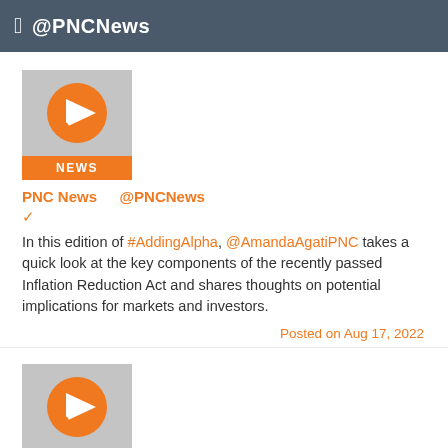@PNCNews
[Figure (logo): PNC News logo with orange circle and arrow icon on gray background, orange NEWS label at bottom]
PNC News   @PNCNews
✓
In this edition of #AddingAlpha, @AmandaAgatiPNC takes a quick look at the key components of the recently passed Inflation Reduction Act and shares thoughts on potential implications for markets and investors.
Posted on Aug 17, 2022
[Figure (logo): PNC News logo with orange circle and arrow icon on gray background, orange NEWS label at bottom]
PNC News   @PNCNews
✓